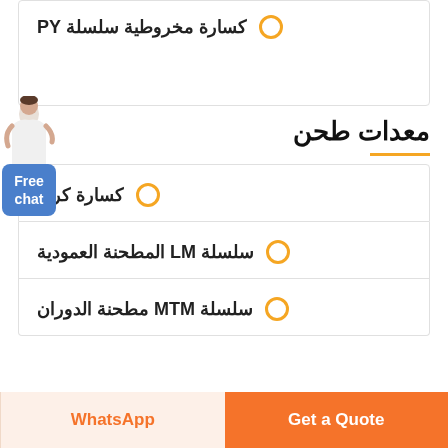كسارة مخروطية سلسلة PY
معدات طحن
كسارة كرية
سلسلة LM المطحنة العمودية
سلسلة MTM مطحنة الدوران